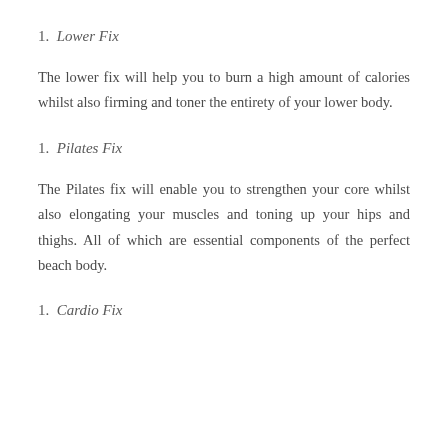1. Lower Fix
The lower fix will help you to burn a high amount of calories whilst also firming and toner the entirety of your lower body.
1. Pilates Fix
The Pilates fix will enable you to strengthen your core whilst also elongating your muscles and toning up your hips and thighs. All of which are essential components of the perfect beach body.
1. Cardio Fix